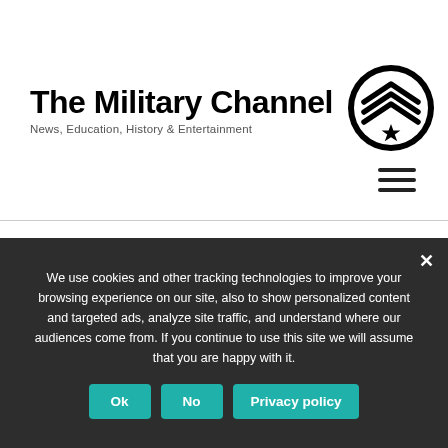[Figure (logo): The Military Channel logo with text 'The Military Channel' and subtitle 'News, Education, History & Entertainment', plus a circular military chevron badge icon]
TAG: IRELAND
We use cookies and other tracking technologies to improve your browsing experience on our site, also to show personalized content and targeted ads, analyze site traffic, and understand where our audiences come from. If you continue to use this site we will assume that you are happy with it.
Ok | No | Privacy policy